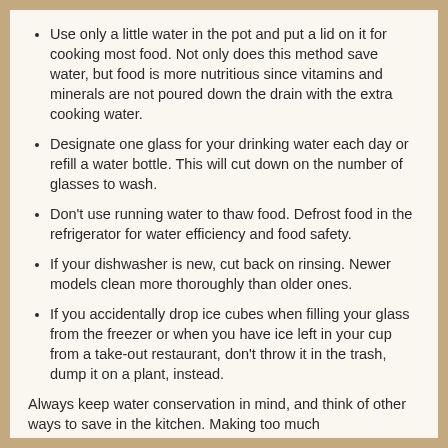Use only a little water in the pot and put a lid on it for cooking most food. Not only does this method save water, but food is more nutritious since vitamins and minerals are not poured down the drain with the extra cooking water.
Designate one glass for your drinking water each day or refill a water bottle. This will cut down on the number of glasses to wash.
Don't use running water to thaw food. Defrost food in the refrigerator for water efficiency and food safety.
If your dishwasher is new, cut back on rinsing. Newer models clean more thoroughly than older ones.
If you accidentally drop ice cubes when filling your glass from the freezer or when you have ice left in your cup from a take-out restaurant, don't throw it in the trash, dump it on a plant, instead.
Always keep water conservation in mind, and think of other ways to save in the kitchen. Making too much